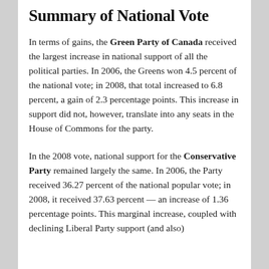Summary of National Vote
In terms of gains, the Green Party of Canada received the largest increase in national support of all the political parties. In 2006, the Greens won 4.5 percent of the national vote; in 2008, that total increased to 6.8 percent, a gain of 2.3 percentage points. This increase in support did not, however, translate into any seats in the House of Commons for the party.
In the 2008 vote, national support for the Conservative Party remained largely the same. In 2006, the Party received 36.27 percent of the national popular vote; in 2008, it received 37.63 percent — an increase of 1.36 percentage points. This marginal increase, coupled with declining Liberal Party support (and also)